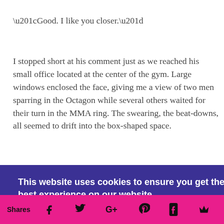“Good. I like you closer.”
I stopped short at his comment just as we reached his small office located at the center of the gym. Large windows enclosed the face, giving me a view of two men sparring in the Octagon while several others waited for their turn in the MMA ring. The swearing, the beat-downs, all seemed to drift into the box-shaped space.
e.”
This website uses cookies to ensure you get the best experience on our website.
Learn more
Got it!
e
Shares